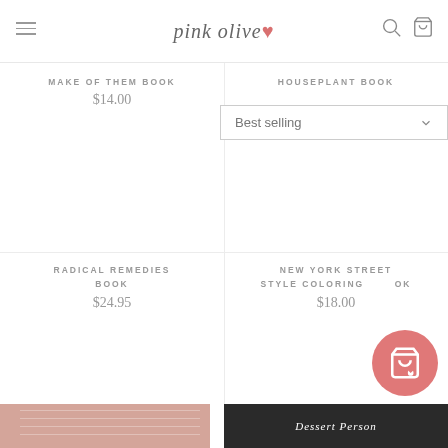pink olive
MAKE OF THEM BOOK
$14.00
HOUSEPLANT BOOK
Best selling
RADICAL REMEDIES BOOK
$24.95
NEW YORK STREET STYLE COLORING BOOK
$18.00
Dessert Person